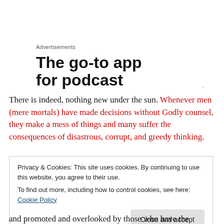Advertisements
The go-to app for podcast
There is indeed, nothing new under the sun. Whenever men (mere mortals) have made decisions without Godly counsel, they make a mess of things and many suffer the consequences of disastrous, corrupt, and greedy thinking.
Privacy & Cookies: This site uses cookies. By continuing to use this website, you agree to their use.
To find out more, including how to control cookies, see here: Cookie Policy
Close and accept
and promoted and overlooked by those who have the